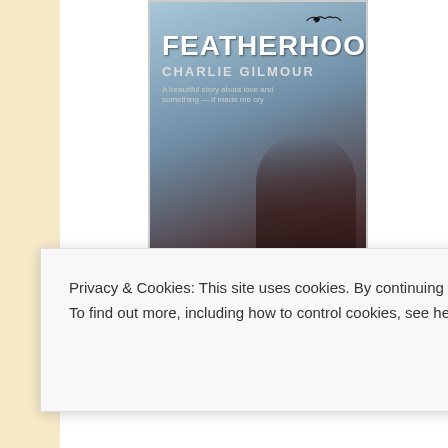[Figure (illustration): Book cover of 'Featherhood' by Charlie Gilmour, showing a bird silhouette at the top and a human profile silhouette against a blue-purple sky background]
A man finds used condoms among his late fath... Solitude by Paul Auster and Featherhood by Charli...
Privacy & Cookies: This site uses cookies. By continuing to use this website, you agree to their use. To find out more, including how to control cookies, see here: Cookie Policy
Close and accept